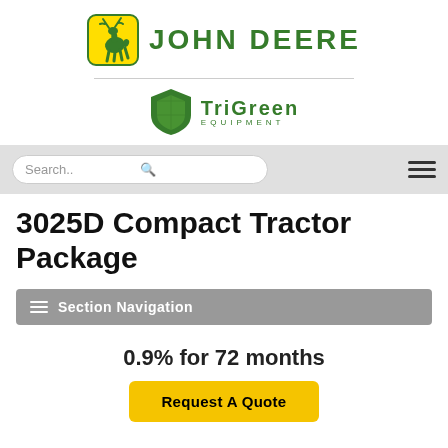[Figure (logo): John Deere logo with leaping deer icon (green and yellow) and 'JOHN DEERE' text in green]
[Figure (logo): TriGreen Equipment logo with green shield/diamond icon and 'TRIGREEN EQUIPMENT' text in green]
3025D Compact Tractor Package
Section Navigation
0.9% for 72 months
Request A Quote